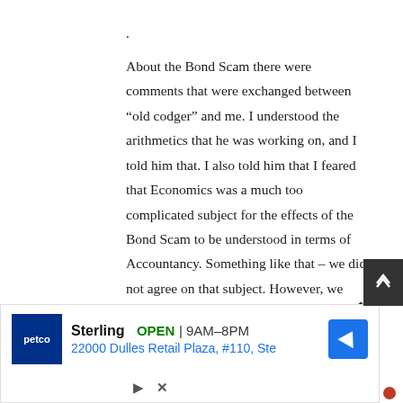.
About the Bond Scam there were comments that were exchanged between “old codger” and me. I understood the arithmetics that he was working on, and I told him that. I also told him that I feared that Economics was a much too complicated subject for the effects of the Bond Scam to be understood in terms of Accountancy. Something like that – we did not agree on that subject. However, we exchange
[Figure (screenshot): Advertisement banner for Petco Sterling store showing OPEN 9AM-8PM and address 22000 Dulles Retail Plaza, #110, Ste with navigation icon]
[Figure (other): Close (X) button overlay on the main text]